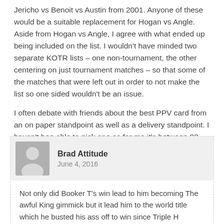Jericho vs Benoit vs Austin from 2001. Anyone of these would be a suitable replacement for Hogan vs Angle. Aside from Hogan vs Angle, I agree with what ended up being included on the list. I wouldn't have minded two separate KOTR lists – one non-tournament, the other centering on just tournament matches – so that some of the matches that were left out in order to not make the list so one sided wouldn't be an issue.
I often debate with friends about the best PPV card from an on paper standpoint as well as a delivery standpoint. I haven't bee able to pick one as for me it's between 93, 96, 98, and 99.
Reply
Brad Attitude
June 4, 2016
Not only did Booker T's win lead to him becoming The awful King gimmick but it lead him to the world title which he busted his ass off to win since Triple H screwed him out of at WrestleMania XIX.